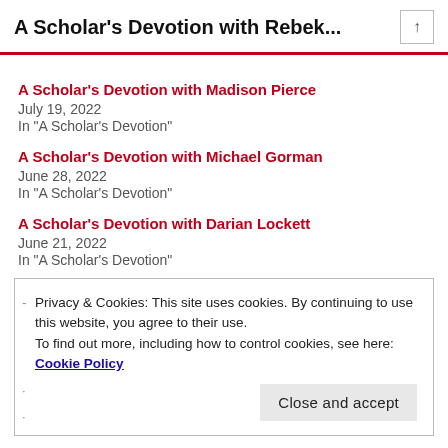A Scholar's Devotion with Rebek...
A Scholar's Devotion with Madison Pierce
July 19, 2022
In "A Scholar's Devotion"
A Scholar's Devotion with Michael Gorman
June 28, 2022
In "A Scholar's Devotion"
A Scholar's Devotion with Darian Lockett
June 21, 2022
In "A Scholar's Devotion"
Privacy & Cookies: This site uses cookies. By continuing to use this website, you agree to their use.
To find out more, including how to control cookies, see here:
Cookie Policy
Close and accept
Published by Spencer